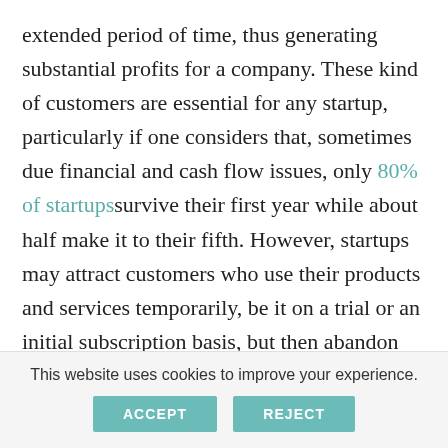extended period of time, thus generating substantial profits for a company. These kind of customers are essential for any startup, particularly if one considers that, sometimes due financial and cash flow issues, only 80% of startups survive their first year while about half make it to their fifth. However, startups may attract customers who use their products and services temporarily, be it on a trial or an initial subscription basis, but then abandon the company. Startups, including those in financial services, utilities, communication, insurance are susceptible to losing
This website uses cookies to improve your experience.
ACCEPT  REJECT